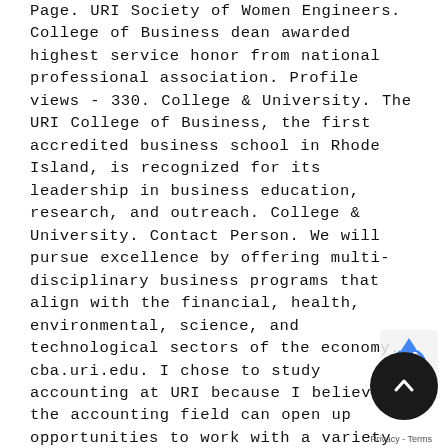Page. URI Society of Women Engineers. College of Business dean awarded highest service honor from national professional association. Profile views - 330. College & University. The URI College of Business, the first accredited business school in Rhode Island, is recognized for its leadership in business education, research, and outreach. College & University. Contact Person. We will pursue excellence by offering multi-disciplinary business programs that align with the financial, health, environmental, science, and technological sectors of the economy. cba.uri.edu. I chose to study accounting at URI because I believe the accounting field can open up opportunities to work with a variety of companies and firms that will help me broad my skills. Login to interact with events, personalize your calendar, and get recommendations. Your submission to College of
[Figure (other): reCAPTCHA badge with blue arrow logo and a dark circular scroll-to-top button with a white upward chevron arrow]